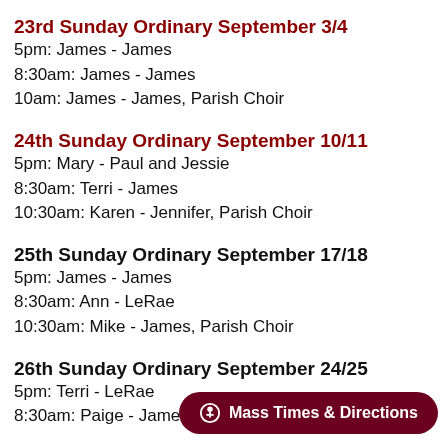23rd Sunday Ordinary September 3/4
5pm: James - James
8:30am: James - James
10am: James - James, Parish Choir
24th Sunday Ordinary September 10/11
5pm: Mary - Paul and Jessie
8:30am: Terri - James
10:30am: Karen - Jennifer, Parish Choir
25th Sunday Ordinary September 17/18
5pm: James - James
8:30am: Ann - LeRae
10:30am: Mike - James, Parish Choir
26th Sunday Ordinary September 24/25
5pm: Terri - LeRae
8:30am: Paige - James